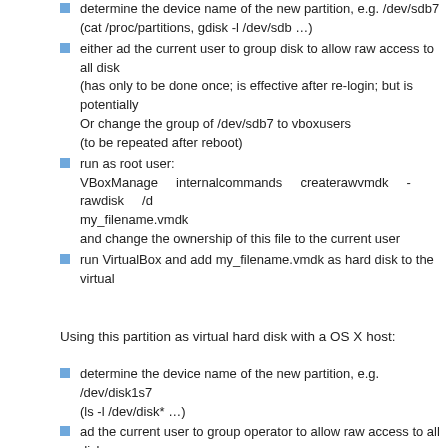determine the device name of the new partition, e.g. /dev/sdb7 (cat /proc/partitions, gdisk -l /dev/sdb …)
either ad the current user to group disk to allow raw access to all disk (has only to be done once; is effective after re-login; but is potentially Or change the group of /dev/sdb7 to vboxusers (to be repeated after reboot)
run as root user: VBoxManage internalcommands createrawvmdk -rawdisk /d my_filename.vmdk and change the ownership of this file to the current user
run VirtualBox and add my_filename.vmdk as hard disk to the virtual
Using this partition as virtual hard disk with a OS X host:
determine the device name of the new partition, e.g. /dev/disk1s7 (ls -l /dev/disk* …)
ad the current user to group operator to allow raw access to all disks (is effective after re-login; is potentially dangerous): dseditgroup -o edit -a name_of_current_user -t user operator
Change permission of group from read access to write access sudo chmod g+w /dev/disk1s7 (to be repeated after reboot)
run as root user: VBoxManage internalcommands createrawvmdk -rawdisk /dev my_filename.vmdk